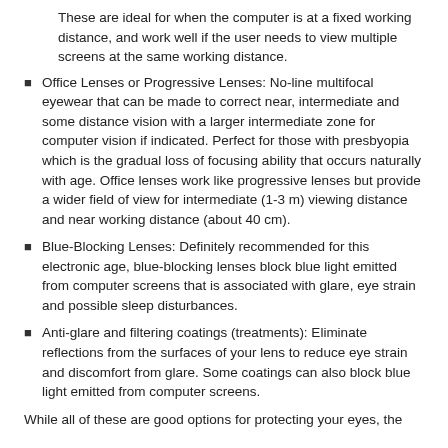These are ideal for when the computer is at a fixed working distance, and work well if the user needs to view multiple screens at the same working distance.
Office Lenses or Progressive Lenses: No-line multifocal eyewear that can be made to correct near, intermediate and some distance vision with a larger intermediate zone for computer vision if indicated. Perfect for those with presbyopia which is the gradual loss of focusing ability that occurs naturally with age. Office lenses work like progressive lenses but provide a wider field of view for intermediate (1-3 m) viewing distance and near working distance (about 40 cm).
Blue-Blocking Lenses: Definitely recommended for this electronic age, blue-blocking lenses block blue light emitted from computer screens that is associated with glare, eye strain and possible sleep disturbances.
Anti-glare and filtering coatings (treatments): Eliminate reflections from the surfaces of your lens to reduce eye strain and discomfort from glare. Some coatings can also block blue light emitted from computer screens.
While all of these are good options for protecting your eyes, the